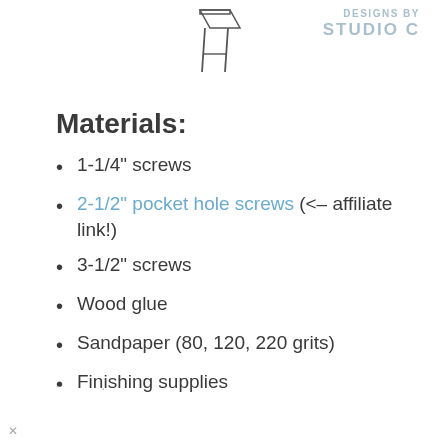[Figure (illustration): Line drawing of a furniture piece (appears to be a table or stool), partially visible, showing top and legs in isometric/schematic style]
[Figure (logo): DESIGNS BY STUDIO C logo in light blue/gray text, top right corner]
Materials:
1-1/4" screws
2-1/2" pocket hole screws (<– affiliate link!)
3-1/2" screws
Wood glue
Sandpaper (80, 120, 220 grits)
Finishing supplies
-        .